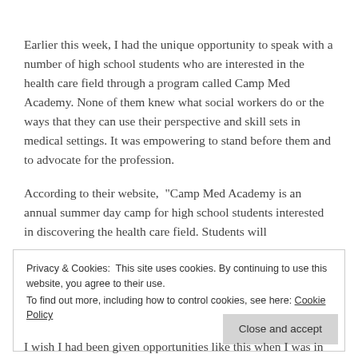Earlier this week, I had the unique opportunity to speak with a number of high school students who are interested in the health care field through a program called Camp Med Academy. None of them knew what social workers do or the ways that they can use their perspective and skill sets in medical settings. It was empowering to stand before them and to advocate for the profession.
According to their website, “Camp Med Academy is an annual summer day camp for high school students interested in discovering the health care field. Students will
Privacy & Cookies: This site uses cookies. By continuing to use this website, you agree to their use.
To find out more, including how to control cookies, see here: Cookie Policy
I wish I had been given opportunities like this when I was in